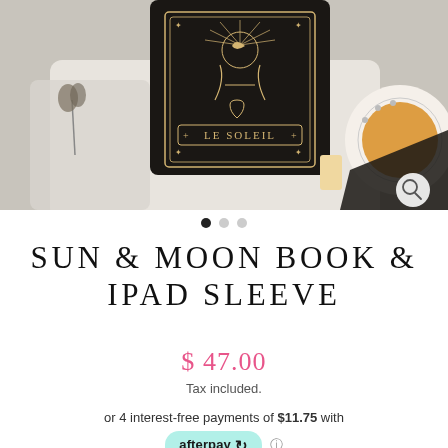[Figure (photo): Product photo of a black tarot card-themed book/iPad sleeve with 'Le Soleil' text and mystical illustration, placed on white knit fabric, with dried flowers and a tea cup visible, styled flat lay]
SUN & MOON BOOK & IPAD SLEEVE
$ 47.00
Tax included.
or 4 interest-free payments of $11.75 with afterpay